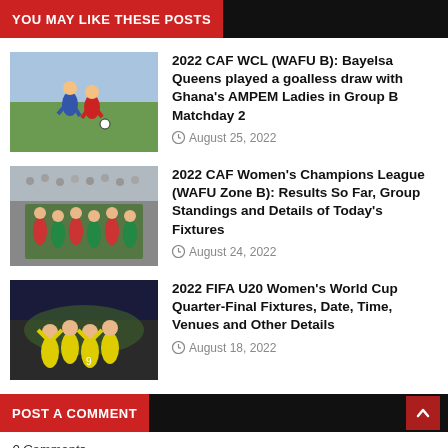YOU MAY LIKE THESE POSTS
[Figure (photo): Soccer players in action on field]
2022 CAF WCL (WAFU B): Bayelsa Queens played a goalless draw with Ghana's AMPEM Ladies in Group B Matchday 2
August 25, 2022
[Figure (photo): Women's football team huddle, players in red and green uniforms]
2022 CAF Women's Champions League (WAFU Zone B): Results So Far, Group Standings and Details of Today's Fixtures
August 24, 2022
[Figure (photo): Women's soccer players celebrating, yellow uniforms]
2022 FIFA U20 Women's World Cup Quarter-Final Fixtures, Date, Time, Venues and Other Details
August 18, 2022
POST A COMMENT
0 Comments